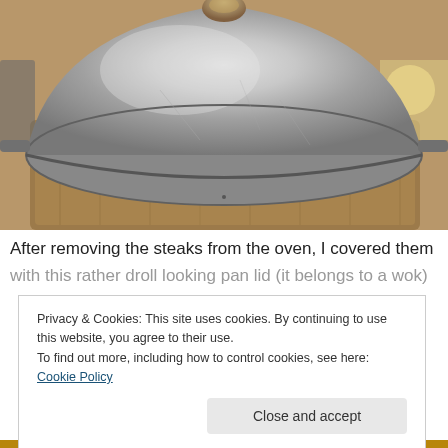[Figure (photo): Photo of a large upside-down metallic wok/pan lid placed on a wooden cutting board on a kitchen counter. The lid is silver/aluminum colored with a knob on top, sitting inverted showing its domed interior.]
After removing the steaks from the oven, I covered them with this rather droll looking pan lid (it belongs to a wok)
Privacy & Cookies: This site uses cookies. By continuing to use this website, you agree to their use.
To find out more, including how to control cookies, see here: Cookie Policy